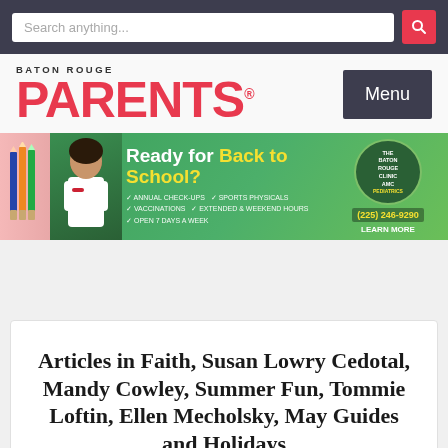Search anything...
[Figure (logo): Baton Rouge Parents magazine logo with red PARENTS text and Menu button]
[Figure (infographic): Back to School advertisement for The Baton Rouge Clinic AMC Pediatrics. Text: Ready for Back to School? Annual Check-Ups, Sports Physicals, Vaccinations, Extended & Weekend Hours, Open 7 Days a Week. Phone: (225) 246-9290. Learn More.]
Articles in Faith, Susan Lowry Cedotal, Mandy Cowley, Summer Fun, Tommie Loftin, Ellen Mecholsky, May Guides and Holidays